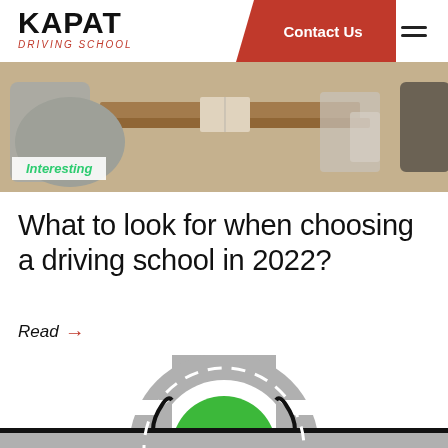KAPAT DRIVING SCHOOL | Contact Us
[Figure (photo): Classroom scene with students at desks]
Interesting
What to look for when choosing a driving school in 2022?
Read →
[Figure (illustration): Roundabout road diagram with green circle center, grey roads, white dashed lane markings]